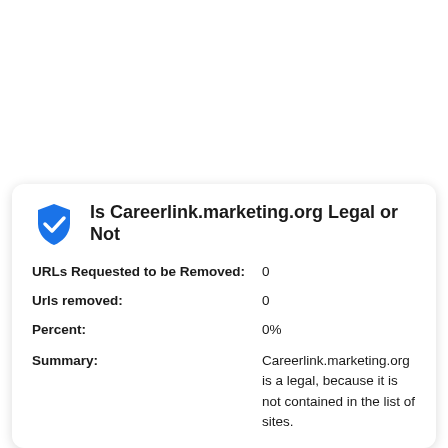Is Careerlink.marketing.org Legal or Not
URLs Requested to be Removed: 0
Urls removed: 0
Percent: 0%
Summary: Careerlink.marketing.org is a legal, because it is not contained in the list of sites.